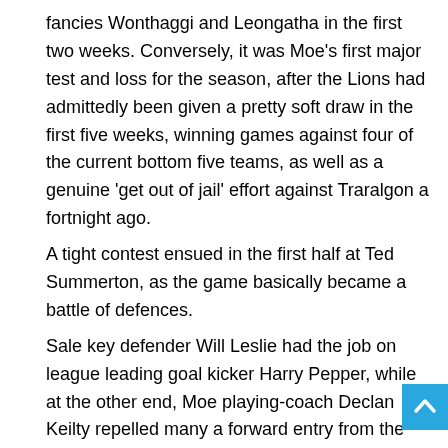fancies Wonthaggi and Leongatha in the first two weeks. Conversely, it was Moe's first major test and loss for the season, after the Lions had admittedly been given a pretty soft draw in the first five weeks, winning games against four of the current bottom five teams, as well as a genuine 'get out of jail' effort against Traralgon a fortnight ago.
A tight contest ensued in the first half at Ted Summerton, as the game basically became a battle of defences.
Sale key defender Will Leslie had the job on league leading goal kicker Harry Pepper, while at the other end, Moe playing-coach Declan Keilty repelled many a forward entry from the Magpies.
At half-time, the margin was just one point, and given the greasy conditions, the match had the makings of one that was going to go down to the wire.
Come three-quarter time, Sale had taken a five-point lead after kicking three goals to two.